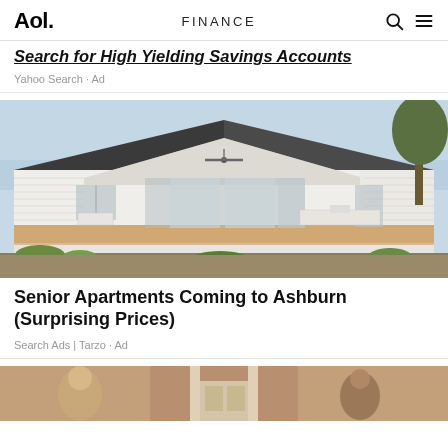Aol. FINANCE
Search for High Yielding Savings Accounts
Yahoo Search · Ad
[Figure (photo): Photo of a white Australian-style single-story house with a wide covered deck/verandah, outdoor furniture, ceiling fans, and landscaped garden in the foreground.]
Senior Apartments Coming to Ashburn (Surprising Prices)
Search Ads | Tarzo · Ad
[Figure (photo): Partial photo of people in front of a brick building, cropped at bottom of page.]